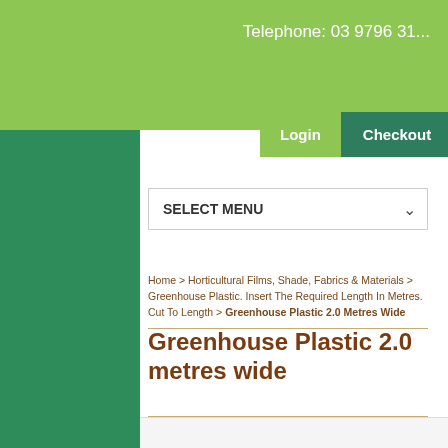Telephone: 03 9796 31...
Login  Checkout
SELECT MENU
Home > Horticultural Films, Shade, Fabrics & Materials > Greenhouse Plastic. Insert The Required Length In Metres. Cut To Length > Greenhouse Plastic 2.0 Metres Wide
Greenhouse Plastic 2.0 metres wide